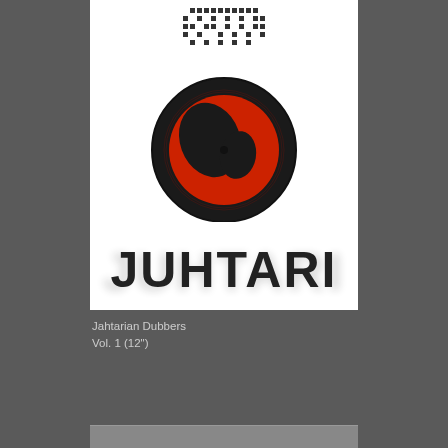[Figure (photo): Album cover for Jahtarian Dubbers Vol. 1 (12 inch vinyl). White background with a pixel/barcode pattern at the top, a red and black vinyl record in the middle, and large stylized text 'JUHTARI' (spray-paint stencil style) at the bottom of the cover.]
Jahtarian Dubbers
Vol. 1 (12")